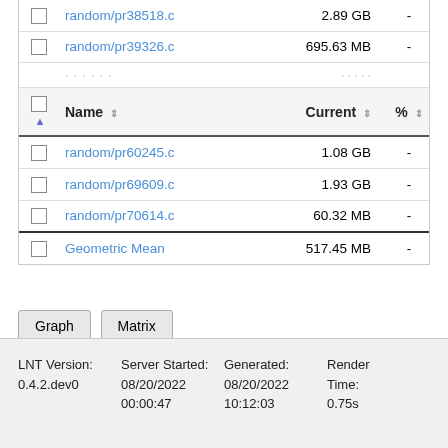|  | Name | Current | % |
| --- | --- | --- | --- |
| ☐ | random/pr38518.c | 2.89 GB | - |
| ☐ | random/pr39326.c | 695.63 MB | - |
| ☐ | random/pr60245.c | 1.08 GB | - |
| ☐ | random/pr69609.c | 1.93 GB | - |
| ☐ | random/pr70614.c | 60.32 MB | - |
| ☐ | Geometric Mean | 517.45 MB | - |
Graph  Matrix
LNT Version: 0.4.2.dev0  Server Started: 08/20/2022 00:00:47  Generated: 08/20/2022 10:12:03  Render Time: 0.75s